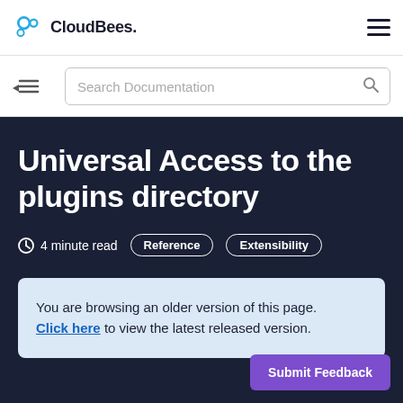CloudBees.
Search Documentation
Universal Access to the plugins directory
4 minute read   Reference   Extensibility
You are browsing an older version of this page. Click here to view the latest released version.
Submit Feedback